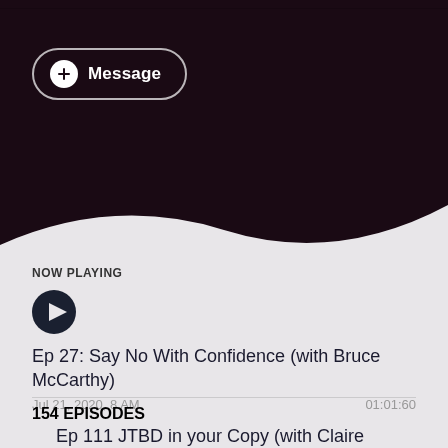[Figure (screenshot): Dark maroon/purple header background section of a podcast app UI]
+ Message
NOW PLAYING
Ep 27: Say No With Confidence (with Bruce McCarthy)
Jul 21, 2020, 8 AM	01:01:60
154 EPISODES
Ep 111 JTBD in your Copy (with Claire Suellentrop)